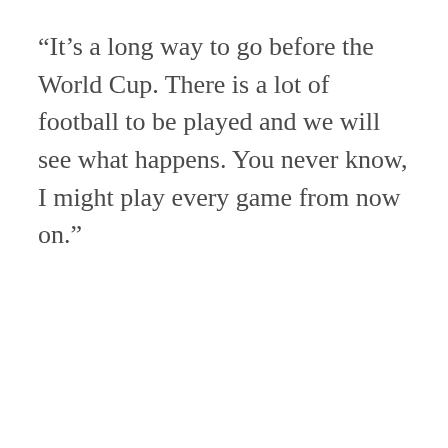“It’s a long way to go before the World Cup. There is a lot of football to be played and we will see what happens. You never know, I might play every game from now on.”